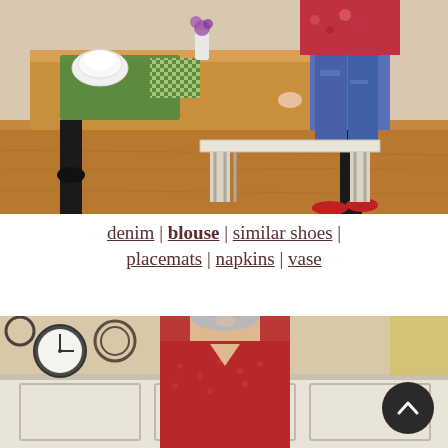[Figure (photo): Woman standing at a wooden dining table with black legs, wearing blue denim jeans, a floral blouse, and red shoes. Table has green placemats and checkered napkins. White bench visible in background. Warm wood floor.]
denim | blouse | similar shoes | placemats | napkins | vase
[Figure (photo): Older woman with short gray hair wearing a red patterned top, standing in a room with wainscoting and a clock on the wall. A dark circular scroll-to-top button appears in the lower right corner.]